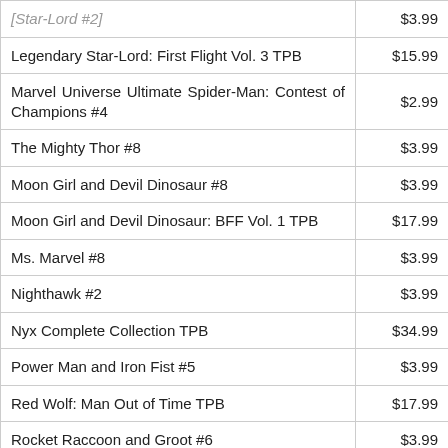| Title | Price |
| --- | --- |
| [Star-Lord #2] | $3.99 |
| Legendary Star-Lord: First Flight Vol. 3 TPB | $15.99 |
| Marvel Universe Ultimate Spider-Man: Contest of Champions #4 | $2.99 |
| The Mighty Thor #8 | $3.99 |
| Moon Girl and Devil Dinosaur #8 | $3.99 |
| Moon Girl and Devil Dinosaur: BFF Vol. 1 TPB | $17.99 |
| Ms. Marvel #8 | $3.99 |
| Nighthawk #2 | $3.99 |
| Nyx Complete Collection TPB | $34.99 |
| Power Man and Iron Fist #5 | $3.99 |
| Red Wolf: Man Out of Time TPB | $17.99 |
| Rocket Raccoon and Groot #6 | $3.99 |
| Scarlet Witch #7 | $3.99 |
| Star Wars: The Force Awakens Adaptation #1 | $4.99 |
| Star Wars: The Force Awakens Adaptation #1 – Cassaday Sketch Variant | $4.99 |